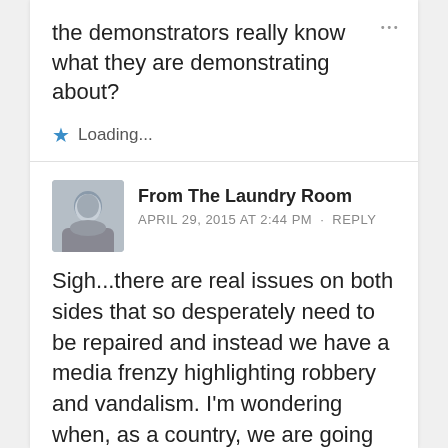the demonstrators really know what they are demonstrating about?
Loading...
From The Laundry Room
APRIL 29, 2015 AT 2:44 PM · REPLY
Sigh...there are real issues on both sides that so desperately need to be repaired and instead we have a media frenzy highlighting robbery and vandalism. I'm wondering when, as a country, we are going to start fixing instead of sensationalizing